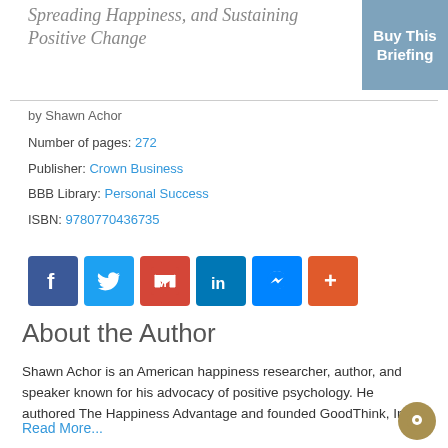Spreading Happiness, and Sustaining Positive Change
Buy This Briefing
by Shawn Achor
Number of pages: 272
Publisher: Crown Business
BBB Library: Personal Success
ISBN: 9780770436735
[Figure (other): Row of social sharing icons: Facebook, Twitter, Gmail, LinkedIn, Messenger, More (+)]
About the Author
Shawn Achor is an American happiness researcher, author, and speaker known for his advocacy of positive psychology. He authored The Happiness Advantage and founded GoodThink, Inc.
Read More...